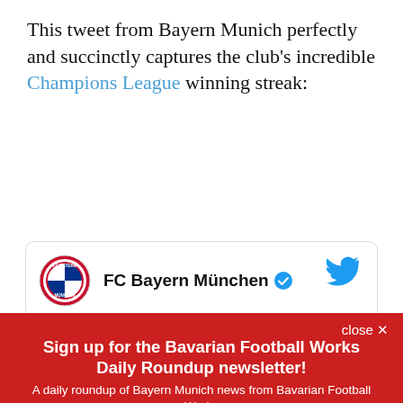This tweet from Bayern Munich perfectly and succinctly captures the club's incredible Champions League winning streak:
[Figure (screenshot): Tweet box showing FC Bayern München verified Twitter account logo and name with Twitter bird icon]
Sign up for the Bavarian Football Works Daily Roundup newsletter!
A daily roundup of Bayern Munich news from Bavarian Football Works
Email (required)
By submitting your email, you agree to our Terms and Privacy Notice. You can opt out at any time. This site is protected by reCAPTCHA and the Google Privacy Policy and Terms of Service apply.